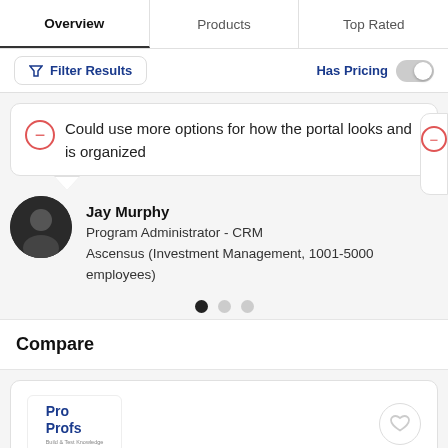Overview | Products | Top Rated
Filter Results | Has Pricing
Could use more options for how the portal looks and is organized
Jay Murphy
Program Administrator - CRM
Ascensus (Investment Management, 1001-5000 employees)
Compare
[Figure (logo): ProProfs Build & Test Knowledge logo]